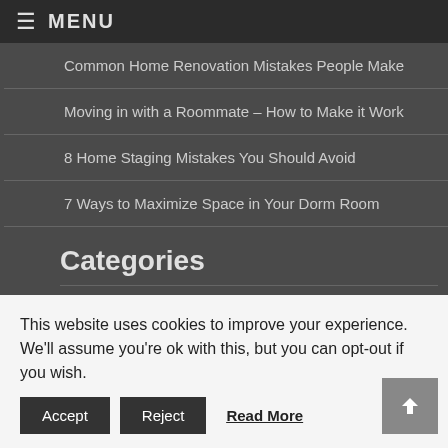≡ MENU
Common Home Renovation Mistakes People Make
Moving in with a Roommate – How to Make it Work
8 Home Staging Mistakes You Should Avoid
7 Ways to Maximize Space in Your Dorm Room
Categories
Decluttering
Diy...
This website uses cookies to improve your experience. We'll assume you're ok with this, but you can opt-out if you wish.
Accept  Reject  Read More